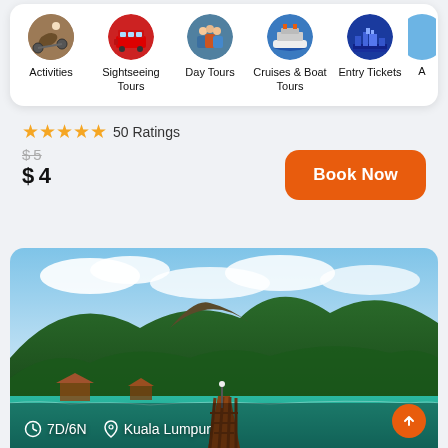[Figure (screenshot): Navigation category icons row: Activities, Sightseeing Tours, Day Tours, Cruises & Boat Tours, Entry Tickets, and a partially visible additional category]
★★★★★ 50 Ratings
$5 (strikethrough original price) $4 (current price)
Book Now
[Figure (photo): Tropical island landscape with green mountains, turquoise water, and a wooden pier/jetty extending into the sea with small waterside buildings]
7D/6N  Kuala Lumpur